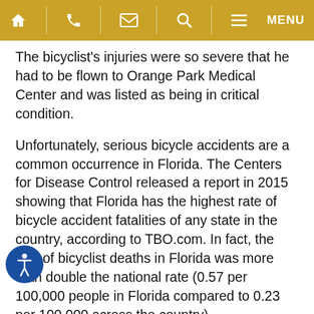Navigation bar with home, phone, email, search, and menu icons
The bicyclist's injuries were so severe that he had to be flown to Orange Park Medical Center and was listed as being in critical condition.
Unfortunately, serious bicycle accidents are a common occurrence in Florida. The Centers for Disease Control released a report in 2015 showing that Florida has the highest rate of bicycle accident fatalities of any state in the country, according to TBO.com. In fact, the rate of bicyclist deaths in Florida was more than double the national rate (0.57 per 100,000 people in Florida compared to 0.23 per 100,000 across the country).
Nationally, the numbers are not very impressive. More than 800 people died in collisions involving a vehicle and a bicycle. That means more than two people lose their lives in a bicycle-related accident each and every day in the United States, according to pedbikeinfo.org.